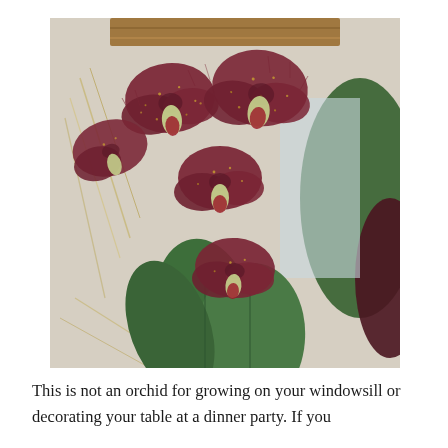[Figure (photo): Close-up photograph of dark reddish-purple orchid flowers with yellow speckled patterns and fringed petals, surrounded by green leaves and dry grass stems. Multiple blooms visible hanging downward.]
This is not an orchid for growing on your windowsill or decorating your table at a dinner party. If you